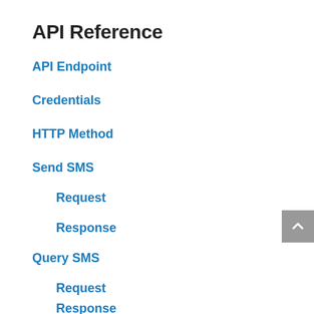API Reference
API Endpoint
Credentials
HTTP Method
Send SMS
Request
Response
Query SMS
Request
Response